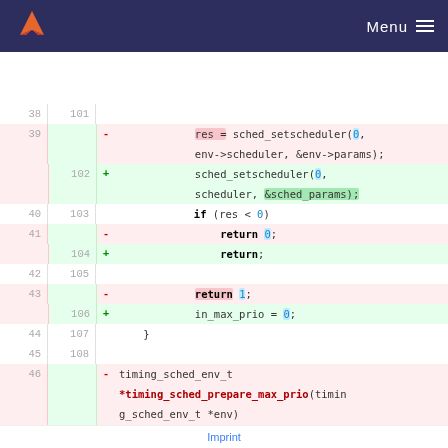GitLab Menu
[Figure (screenshot): Code diff view showing changes to a C source file. Lines 38-50 on the old side and lines 101-108 on the new side. Removed lines (pink) show res = sched_setscheduler(0, env->scheduler, &env->params); return 0; return 1; and the function timing_sched_env_t *timing_sched_prepare_max_prio. Added lines (green) show sched_setscheduler(0, scheduler, &sched_params); return; in_max_prio = 0;]
Imprint